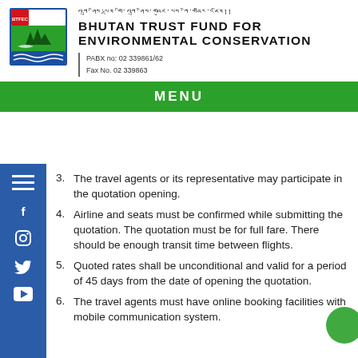[Figure (logo): BTFEC logo with trees, mountain and water, red/green/blue colors]
BHUTAN TRUST FUND FOR ENVIRONMENTAL CONSERVATION
PABX no: 02 339861/62
Fax No. 02 339863
MENU
3. The travel agents or its representative may participate in the quotation opening.
4. Airline and seats must be confirmed while submitting the quotation. The quotation must be for full fare. There should be enough transit time between flights.
5. Quoted rates shall be unconditional and valid for a period of 45 days from the date of opening the quotation.
6. The travel agents must have online booking facilities with mobile communication system.